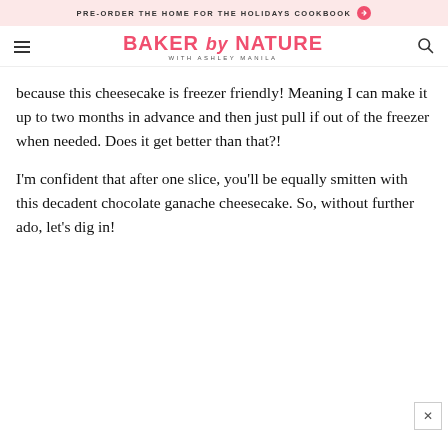PRE-ORDER THE HOME FOR THE HOLIDAYS COOKBOOK
BAKER by NATURE WITH ASHLEY MANILA
because this cheesecake is freezer friendly! Meaning I can make it up to two months in advance and then just pull if out of the freezer when needed. Does it get better than that?!
I'm confident that after one slice, you'll be equally smitten with this decadent chocolate ganache cheesecake. So, without further ado, let's dig in!